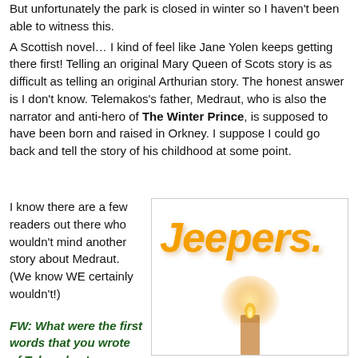But unfortunately the park is closed in winter so I haven't been able to witness this.
A Scottish novel… I kind of feel like Jane Yolen keeps getting there first! Telling an original Mary Queen of Scots story is as difficult as telling an original Arthurian story. The honest answer is I don't know. Telemakos's father, Medraut, who is also the narrator and anti-hero of The Winter Prince, is supposed to have been born and raised in Orkney. I suppose I could go back and tell the story of his childhood at some point.
I know there are a few readers out there who wouldn't mind another story about Medraut. (We know WE certainly wouldn't!)
FW: What were the first words that you wrote of Telemakos'
[Figure (illustration): Book cover or advertisement image showing the word 'Jeepers.' in large bold italic orange/yellow text with a glowing candle below it on a white background with a thin border.]